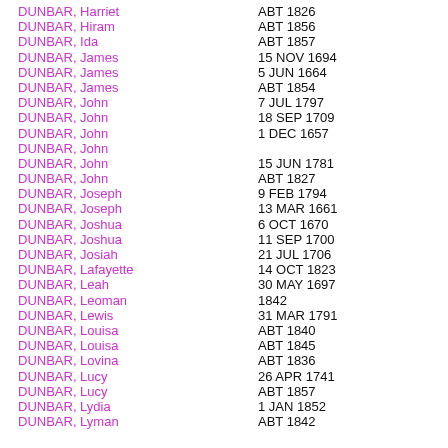| Name | Date |
| --- | --- |
| DUNBAR, Harriet | ABT 1826 |
| DUNBAR, Hiram | ABT 1856 |
| DUNBAR, Ida | ABT 1857 |
| DUNBAR, James | 15 NOV 1694 |
| DUNBAR, James | 5 JUN 1664 |
| DUNBAR, James | ABT 1854 |
| DUNBAR, John | 7 JUL 1797 |
| DUNBAR, John | 18 SEP 1709 |
| DUNBAR, John | 1 DEC 1657 |
| DUNBAR, John |  |
| DUNBAR, John | 15 JUN 1781 |
| DUNBAR, John | ABT 1827 |
| DUNBAR, Joseph | 9 FEB 1794 |
| DUNBAR, Joseph | 13 MAR 1661 |
| DUNBAR, Joshua | 6 OCT 1670 |
| DUNBAR, Joshua | 11 SEP 1700 |
| DUNBAR, Josiah | 21 JUL 1706 |
| DUNBAR, Lafayette | 14 OCT 1823 |
| DUNBAR, Leah | 30 MAY 1697 |
| DUNBAR, Leoman | 1842 |
| DUNBAR, Lewis | 31 MAR 1791 |
| DUNBAR, Louisa | ABT 1840 |
| DUNBAR, Louisa | ABT 1845 |
| DUNBAR, Lovina | ABT 1836 |
| DUNBAR, Lucy | 26 APR 1741 |
| DUNBAR, Lucy | ABT 1857 |
| DUNBAR, Lydia | 1 JAN 1852 |
| DUNBAR, Lyman | ABT 1842 |